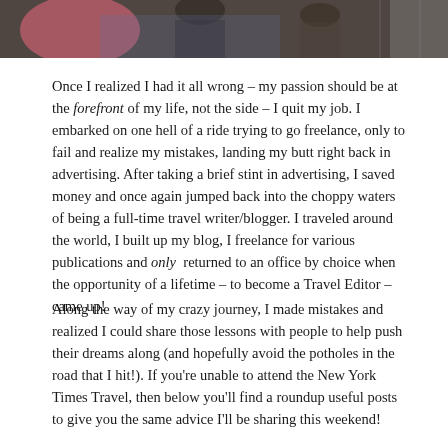[Figure (photo): Photograph of people, partially cropped, showing figures seated or standing indoors, appearing to be a candid shot.]
Once I realized I had it all wrong – my passion should be at the forefront of my life, not the side – I quit my job. I embarked on one hell of a ride trying to go freelance, only to fail and realize my mistakes, landing my butt right back in advertising. After taking a brief stint in advertising, I saved money and once again jumped back into the choppy waters of being a full-time travel writer/blogger. I traveled around the world, I built up my blog, I freelance for various publications and only returned to an office by choice when the opportunity of a lifetime – to become a Travel Editor – came up!
Along the way of my crazy journey, I made mistakes and realized I could share those lessons with people to help push their dreams along (and hopefully avoid the potholes in the road that I hit!). If you're unable to attend the New York Times Travel, then below you'll find a roundup useful posts to give you the same advice I'll be sharing this weekend!